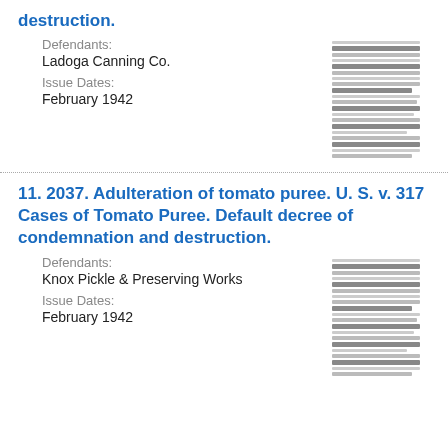destruction.
Defendants:
Ladoga Canning Co.
Issue Dates:
February 1942
11. 2037. Adulteration of tomato puree. U. S. v. 317 Cases of Tomato Puree. Default decree of condemnation and destruction.
Defendants:
Knox Pickle & Preserving Works
Issue Dates:
February 1942